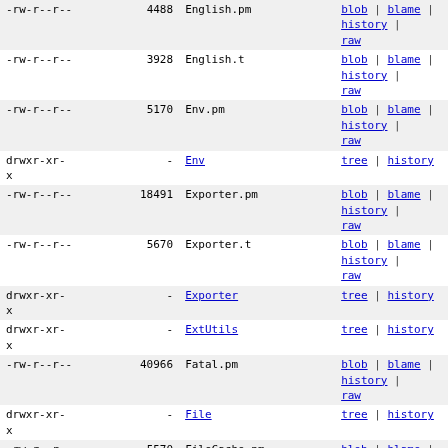| permissions | size | name | links |
| --- | --- | --- | --- |
| -rw-r--r-- | 4488 | English.pm | blob | blame | history | raw |
| -rw-r--r-- | 3928 | English.t | blob | blame | history | raw |
| -rw-r--r-- | 5170 | Env.pm | blob | blame | history | raw |
| drwxr-xr-x | - | Env | tree | history |
| -rw-r--r-- | 18491 | Exporter.pm | blob | blame | history | raw |
| -rw-r--r-- | 5670 | Exporter.t | blob | blame | history | raw |
| drwxr-xr-x | - | Exporter | tree | history |
| drwxr-xr-x | - | ExtUtils | tree | history |
| -rw-r--r-- | 40966 | Fatal.pm | blob | blame | history | raw |
| drwxr-xr-x | - | File | tree | history |
| -rw-r--r-- | 5570 | FileCache.pm | blob | blame | history | raw |
| drwxr-xr-x | - | FileCache | tree | history |
| -rw-r--r-- | 6778 | FileHandle.pm | blob | blame | history | raw |
| -rw-r--r-- | 1767 | FileHandle.t | blob | blame | history | raw |